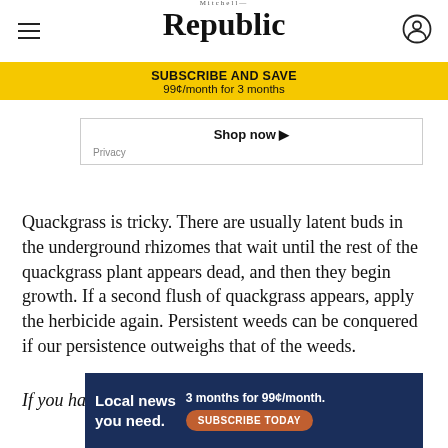Mitchell Republic
SUBSCRIBE AND SAVE
99¢/month for 3 months
Shop now ▸
Privacy
Quackgrass is tricky. There are usually latent buds in the underground rhizomes that wait until the rest of the quackgrass plant appears dead, and then they begin growth. If a second flush of quackgrass appears, apply the herbicide again. Persistent weeds can be conquered if our persistence outweighs that of the weeds.
If you have a gardening or lawn care question email
[Figure (infographic): Bottom advertisement banner: 'Local news you need. 3 months for 99¢/month. SUBSCRIBE TODAY']